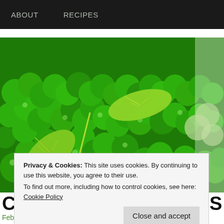ABOUT   RECIPES
[Figure (photo): Close-up photo of fresh green peas with mint leaves on top]
Privacy & Cookies: This site uses cookies. By continuing to use this website, you agree to their use.
To find out more, including how to control cookies, see here: Cookie Policy
C...S
February 14, 2013